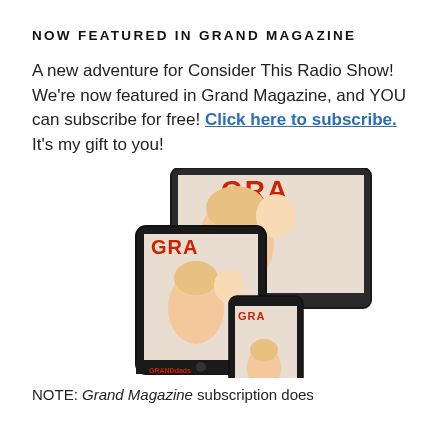NOW FEATURED IN GRAND MAGAZINE
A new adventure for Consider This Radio Show! We're now featured in Grand Magazine, and YOU can subscribe for free! Click here to subscribe. It's my gift to you!
[Figure (photo): Three devices (monitor, tablet, smartphone) each showing the cover of Grand Magazine featuring a smiling woman holding a baby]
NOTE: Grand Magazine subscription does